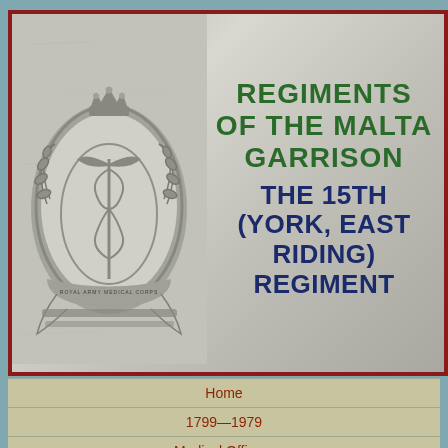[Figure (photo): Royal Army Medical Corps badge/crest on a stone/marble textured background, showing an oval badge with a caduceus (staff with two serpents), laurel wreath, and crown at top, with the text 'ROYAL ARMY MEDICAL CORPS' around the oval.]
REGIMENTS OF THE MALTA GARRISON THE 15TH (YORK, EAST RIDING) REGIMENT
Home
1799—1979
Medical Officers